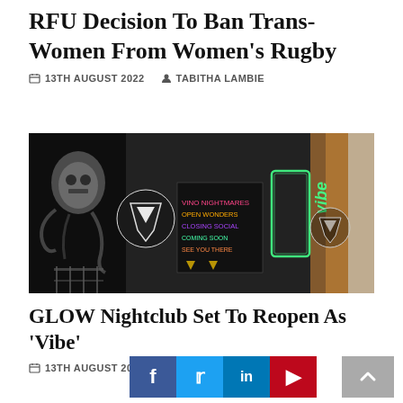RFU Decision To Ban Trans-Women From Women's Rugby
📅 13TH AUGUST 2022   👤 TABITHA LAMBIE
[Figure (photo): Exterior of GLOW/Vibe nightclub showing signage with neon 'vibe' sign in green, various logos and event posters on dark walls, with graffiti artwork visible.]
GLOW Nightclub Set To Reopen As 'Vibe'
📅 13TH AUGUST 2022   👤 AMI CLEMENT